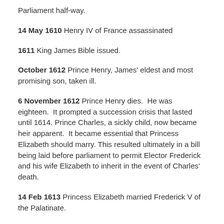Parliament half-way.
14 May 1610 Henry IV of France assassinated
1611 King James Bible issued.
October 1612 Prince Henry, James' eldest and most promising son, taken ill.
6 November 1612 Prince Henry dies. He was eighteen. It prompted a succession crisis that lasted until 1614. Prince Charles, a sickly child, now became heir apparent. It became essential that Princess Elizabeth should marry. This resulted ultimately in a bill being laid before parliament to permit Elector Frederick and his wife Elizabeth to inherit in the event of Charles' death.
14 Feb 1613 Princess Elizabeth married Frederick V of the Palatinate.
April 1613 Thomas Overbury sent to Tower but then released.